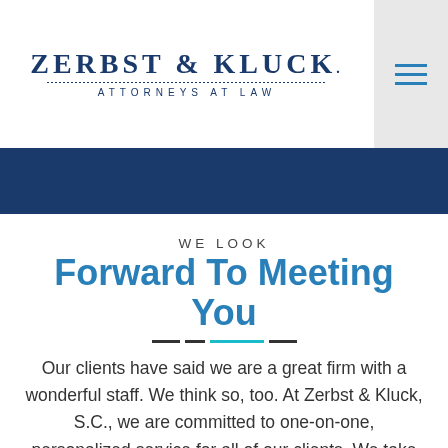[Figure (logo): Zerbst & Kluck Attorneys at Law logo with decorative dotted line divider]
WE LOOK
Forward To Meeting You
Our clients have said we are a great firm with a wonderful staff. We think so, too. At Zerbst & Kluck, S.C., we are committed to one-on-one, personalized service for all of our clients. We take on the cases we believe in as our own and without overextending ourselves.